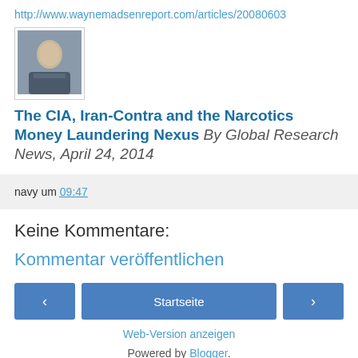http://www.waynemadsenreport.com/articles/20080603
[Figure (photo): Small portrait photo of a man in a suit]
The CIA, Iran-Contra and the Narcotics Money Laundering Nexus By Global Research News, April 24, 2014
navy um 09:47
Keine Kommentare:
Kommentar veröffentlichen
‹  Startseite  ›
Web-Version anzeigen
Powered by Blogger.